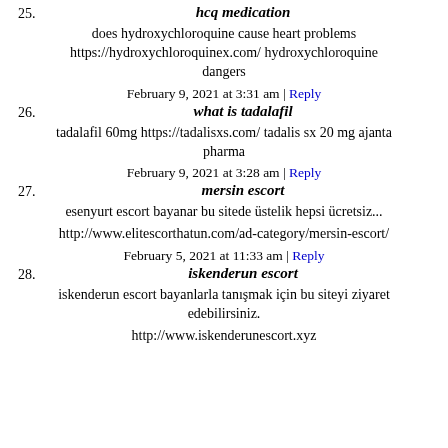25. hcq medication
does hydroxychloroquine cause heart problems https://hydroxychloroquinex.com/ hydroxychloroquine dangers
February 9, 2021 at 3:31 am | Reply
26. what is tadalafil
tadalafil 60mg https://tadalisxs.com/ tadalis sx 20 mg ajanta pharma
February 9, 2021 at 3:28 am | Reply
27. mersin escort
esenyurt escort bayanar bu sitede üstelik hepsi ücretsiz...
http://www.elitescorthatun.com/ad-category/mersin-escort/
February 5, 2021 at 11:33 am | Reply
28. iskenderun escort
iskenderun escort bayanlarla tanışmak için bu siteyi ziyaret edebilirsiniz.
http://www.iskenderunescort.xyz